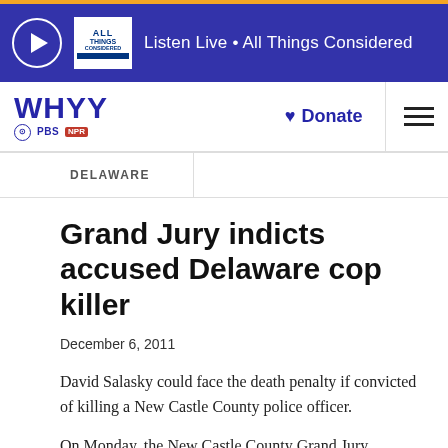Listen Live • All Things Considered
[Figure (logo): WHYY PBS NPR logo with Donate button and hamburger menu]
DELAWARE
Grand Jury indicts accused Delaware cop killer
December 6, 2011
David Salasky could face the death penalty if convicted of killing a New Castle County police officer.
On Monday, the New Castle County Grand Jury returned a